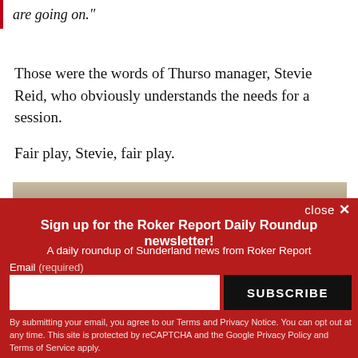are going on."
Those were the words of Thurso manager, Stevie Reid, who obviously understands the needs for a session.
Fair play, Stevie, fair play.
[Figure (photo): Partial view of a landscape/outdoor photo, cropped at top of overlay]
Sign up for the Roker Report Daily Roundup newsletter!
A daily roundup of Sunderland news from Roker Report
Email (required)
SUBSCRIBE
By submitting your email, you agree to our Terms and Privacy Notice. You can opt out at any time. This site is protected by reCAPTCHA and the Google Privacy Policy and Terms of Service apply.